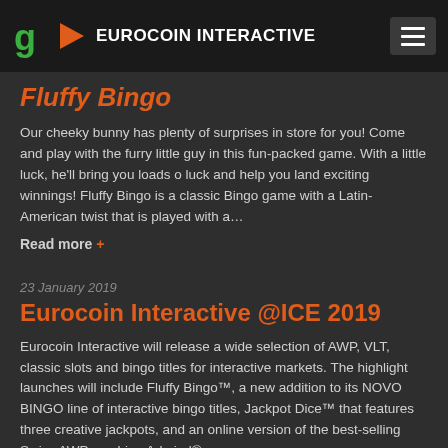EUROCOIN INTERACTIVE
Fluffy Bingo
Our cheeky bunny has plenty of surprises in store for you! Come and play with the furry little guy in this fun-packed game. With a little luck, he'll bring you loads o luck and help you land exciting winnings! Fluffy Bingo is a classic Bingo game with a Latin-American twist that is played with a…
Read more +
23 January 2019
Eurocoin Interactive @ICE 2019
Eurocoin Interactive will release a wide selection of AWP, VLT, classic slots and bingo titles for interactive markets. The highlight launches will include Fluffy Bingo™, a new addition to its NOVO BINGO line of interactive bingo titles, Jackpot Dice™ that features three creative jackpots, and an online version of the best-selling Swiss AWP machine Admiral®…
Read more +